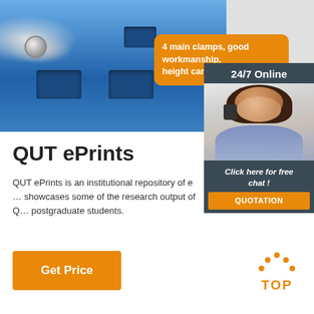[Figure (photo): Close-up product photo of a blue metal clamp/fixture with rectangular cutouts and a bolt/nut visible, on a light gray background]
4 main clamps, good workmanship, height can be adjusted.
[Figure (photo): 24/7 Online customer service panel with a woman wearing a headset, smiling; includes 'Click here for free chat!' text and QUOTATION button]
QUT ePrints
QUT ePrints is an institutional repository of e... showcases some of the research output of Q... postgraduate students.
Get Price
[Figure (logo): TOP logo with orange dotted arc above and orange bold TOP text]